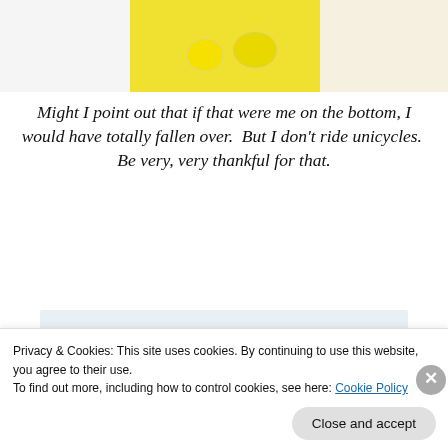[Figure (illustration): Partial view of a cartoon/illustrated image with yellow and white areas at the top of the page, cropped]
Might I point out that if that were me on the bottom, I would have totally fallen over.  But I don't ride unicycles.  Be very, very thankful for that.
[Figure (screenshot): WordPress app advertisement with text 'habit. Post on the go.' and 'GET THE APP' link with WordPress logo]
Privacy & Cookies: This site uses cookies. By continuing to use this website, you agree to their use.
To find out more, including how to control cookies, see here: Cookie Policy
Close and accept